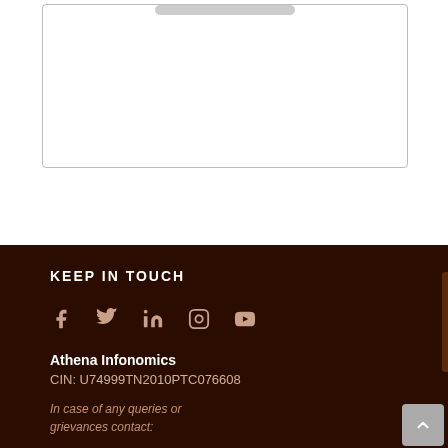[Figure (other): White bordered box at top of page with pill-shaped bar at top edge]
KEEP IN TOUCH
[Figure (other): Social media icons: Facebook, Twitter, LinkedIn, Instagram, YouTube]
Athena Infonomics
CIN: U74999TN2010PTC076608
In case of any queries or grievances contact: